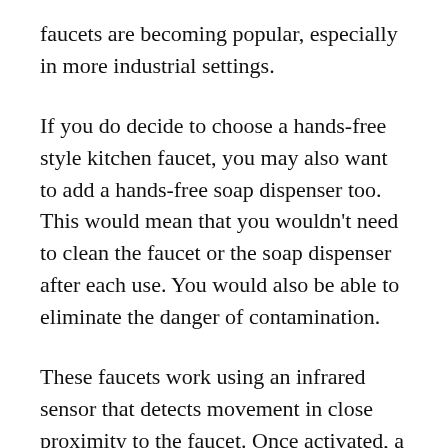faucets are becoming popular, especially in more industrial settings.
If you do decide to choose a hands-free style kitchen faucet, you may also want to add a hands-free soap dispenser too. This would mean that you wouldn't need to clean the faucet or the soap dispenser after each use. You would also be able to eliminate the danger of contamination.
These faucets work using an infrared sensor that detects movement in close proximity to the faucet. Once activated, a stream of water is released for a short time and automatically stops when it is no longer needed.
If you would prefer to have a faucet that offered